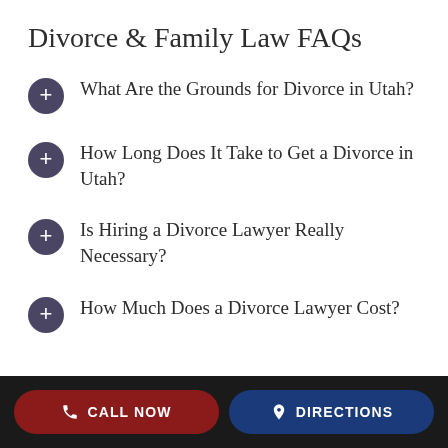Divorce & Family Law FAQs
What Are the Grounds for Divorce in Utah?
How Long Does It Take to Get a Divorce in Utah?
Is Hiring a Divorce Lawyer Really Necessary?
How Much Does a Divorce Lawyer Cost?
CALL NOW | DIRECTIONS